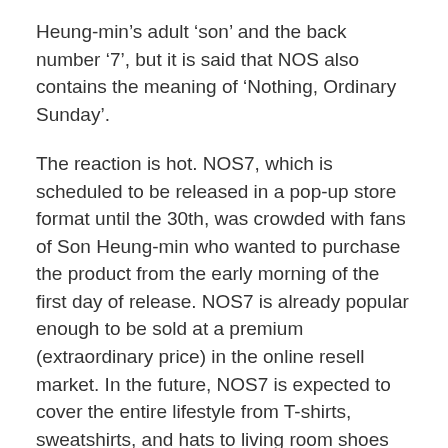Heung-min's adult 'son' and the back number '7', but it is said that NOS also contains the meaning of 'Nothing, Ordinary Sunday'.
The reaction is hot. NOS7, which is scheduled to be released in a pop-up store format until the 30th, was crowded with fans of Son Heung-min who wanted to purchase the product from the early morning of the first day of release. NOS7 is already popular enough to be sold at a premium (extraordinary price) in the online resell market. In the future, NOS7 is expected to cover the entire lifestyle from T-shirts, sweatshirts, and hats to living room shoes and towels.
Son Heung-min has shown a sense of fashion that is as good as his soccer skills. In March of this year, he became a hot topic by choosing a pink luxury trench coat as an airport fashion, and last year he appeared as a cover...